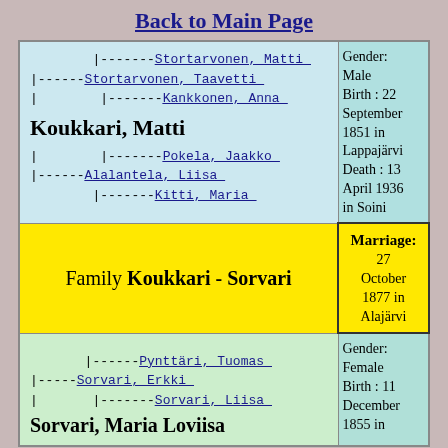Back to Main Page
| Person / Ancestors | Details |
| --- | --- |
| |---------Stortarvonen, Matti
|-------Stortarvonen, Taavetti
|        |---------Kankkonen, Anna
Koukkari, Matti
|        |---------Pokela, Jaakko
|-------Alalantela, Liisa
         |---------Kitti, Maria | Gender: Male
Birth : 22 September 1851 in Lappajärvi
Death : 13 April 1936 in Soini |
| Family Koukkari - Sorvari | Marriage: 27 October 1877 in Alajärvi |
| |---------Pynttäri, Tuomas
|-------Sorvari, Erkki
|        |---------Sorvari, Liisa
Sorvari, Maria Loviisa | Gender: Female
Birth : 11 December 1855 in |